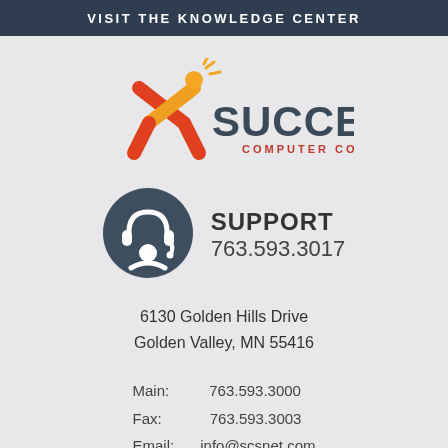VISIT THE KNOWLEDGE CENTER
[Figure (logo): X Success Computer Consulting logo with orange/red X figure and dark gray text]
[Figure (illustration): Dark gray circle with white headset/support agent icon]
SUPPORT
763.593.3017
6130 Golden Hills Drive
Golden Valley, MN 55416
Main:        763.593.3000
Fax:          763.593.3003
Email:  info@scsnet.com